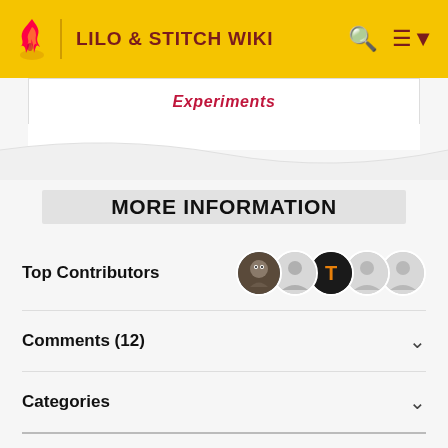LILO & STITCH WIKI
Experiments
MORE INFORMATION
Top Contributors
Comments (12)
Categories
Other Languages:
Community content is available under CC-BY-SA unless otherwise noted.